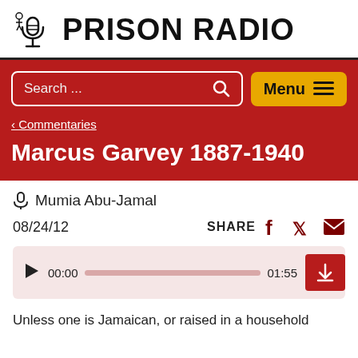PRISON RADIO
Search ...
Menu
‹ Commentaries
Marcus Garvey 1887-1940
🎙 Mumia Abu-Jamal
08/24/12
SHARE
[Figure (other): Audio player with play button, time 00:00, progress bar, end time 01:55, and download button]
Unless one is Jamaican, or raised in a household